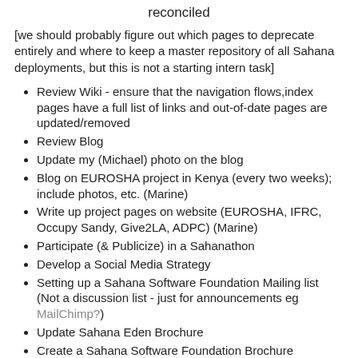reconciled
[we should probably figure out which pages to deprecate entirely and where to keep a master repository of all Sahana deployments, but this is not a starting intern task]
Review Wiki - ensure that the navigation flows,index pages have a full list of links and out-of-date pages are updated/removed
Review Blog
Update my (Michael) photo on the blog
Blog on EUROSHA project in Kenya (every two weeks); include photos, etc. (Marine)
Write up project pages on website (EUROSHA, IFRC, Occupy Sandy, Give2LA, ADPC) (Marine)
Participate (& Publicize) in a Sahanathon
Develop a Social Media Strategy
Setting up a Sahana Software Foundation Mailing list (Not a discussion list - just for announcements eg MailChimp?)
Update Sahana Eden Brochure
Create a Sahana Software Foundation Brochure
Design a Sahana Software Foundation Poster to promote our work at conferences/events
Design identifiable stationery that could be...